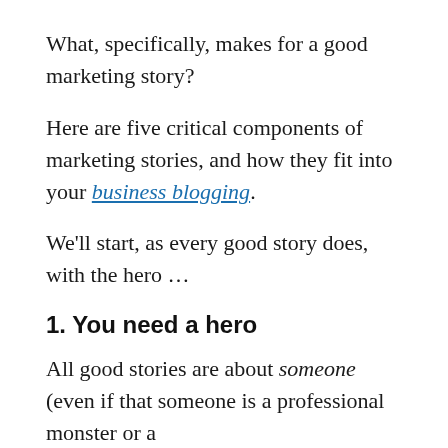What, specifically, makes for a good marketing story?
Here are five critical components of marketing stories, and how they fit into your business blogging.
We'll start, as every good story does, with the hero …
1. You need a hero
All good stories are about someone (even if that someone is a professional monster or a